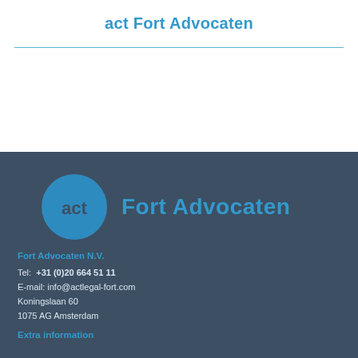act Fort Advocaten
[Figure (logo): act Fort Advocaten logo: blue circle with 'act' text in dark blue, followed by 'Fort Advocaten' in blue text]
Fort Advocaten N.V.
Tel:  +31 (0)20 664 51 11
E-mail: info@actlegal-fort.com
Koningslaan 60
1075 AG Amsterdam
Extra information